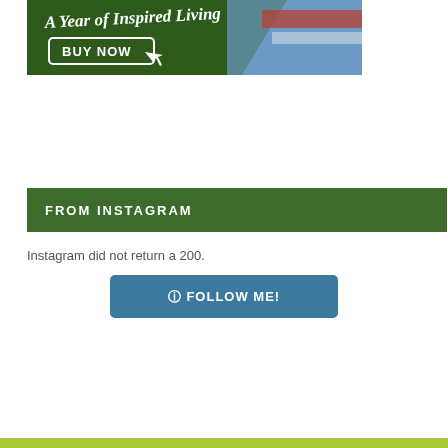[Figure (illustration): A promotional banner ad with dark green background showing 'A Year of Inspired Living' in white script font, a 'BUY NOW' button with cursor icon, and a partial photo of a person on the right side.]
FROM INSTAGRAM
Instagram did not return a 200.
[Figure (other): A teal/blue rounded rectangle button labeled with an Instagram camera icon and 'FOLLOW ME!' in white text.]